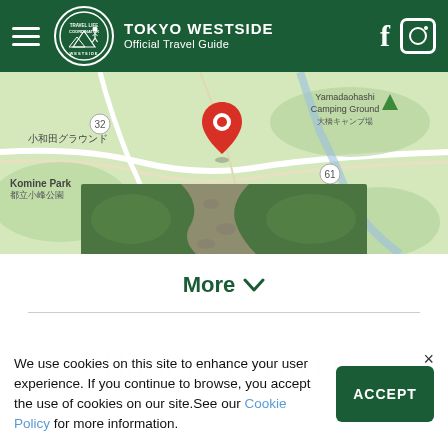TOKYO WESTSIDE Official Travel Guide
[Figure (map): Google Maps screenshot showing Yamadaohashi Camping Ground area with a red location pin, showing nearby landmarks: 小和田グラウンド, Komine Park 都立小峰公園, Tokyo Itsukaichi Country Club, 大橋キャンプ場, route 32 and 61]
[Figure (photo): Photo strip showing a stone/grass path in a green park or garden setting]
More ∨
We use cookies on this site to enhance your user experience. If you continue to browse, you accept the use of cookies on our site.See our Cookie Policy for more information.
Hiraigawa River